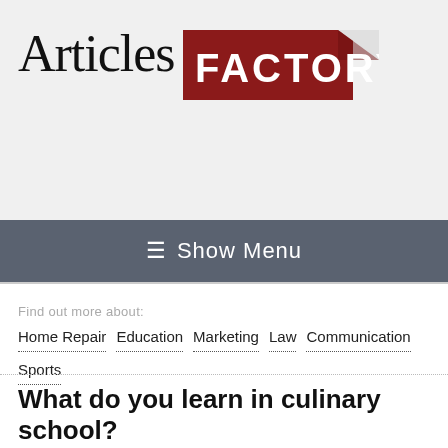[Figure (logo): Articles Factory logo with serif 'Articles' text and bold red 'FACTORY' badge with folded corner tab]
≡  Show Menu
Find out more about:  Home Repair  Education  Marketing  Law  Communication  Sports
What do you learn in culinary school?